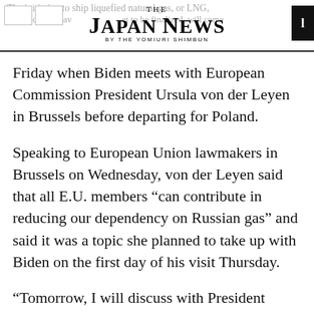THE JAPAN NEWS BY THE YOMIURI SHIMBUN
The initiative to ship liquefied natural gas, or LNG, whose details have yet to be finalized, will come Friday when Biden meets with European Commission President Ursula von der Leyen in Brussels before departing for Poland.
Speaking to European Union lawmakers in Brussels on Wednesday, von der Leyen said that all E.U. members “can contribute in reducing our dependency on Russian gas” and said it was a topic she planned to take up with Biden on the first day of his visit Thursday.
“Tomorrow, I will discuss with President Biden how to prioritize LNG deliveries from the United States to the European Union in the coming months,” von der Leyen said. “We are aiming at having a